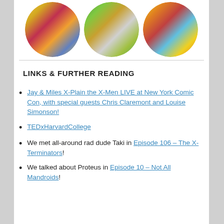[Figure (illustration): Three circular cropped comic book panels showing X-Men characters. Left circle: two characters, one with visor (Cyclops) and a woman with red hair. Middle circle: a character pointing a gun. Right circle: an action scene with a character in yellow costume.]
LINKS & FURTHER READING
Jay & Miles X-Plain the X-Men LIVE at New York Comic Con, with special guests Chris Claremont and Louise Simonson!
TEDxHarvardCollege
We met all-around rad dude Taki in Episode 106 – The X-Terminators!
We talked about Proteus in Episode 10 – Not All Mandroids!